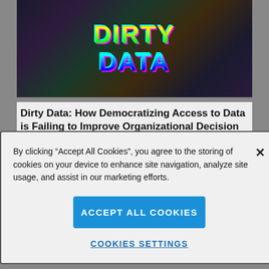[Figure (photo): Colorful psychedelic 'DIRTY DATA' text in neon rainbow colors on a dark circular vinyl record-like background]
Dirty Data: How Democratizing Access to Data is Failing to Improve Organizational Decision Making
By clicking “Accept All Cookies”, you agree to the storing of cookies on your device to enhance site navigation, analyze site usage, and assist in our marketing efforts.
Accept All Cookies
Cookies Settings